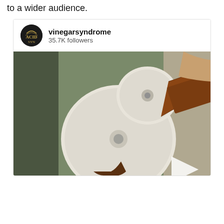to a wider audience.
[Figure (screenshot): Instagram post card from account 'vinegarsyndrome' with 35.7K followers showing a close-up photo of film reels being handled, with a play button overlay in the bottom right corner.]